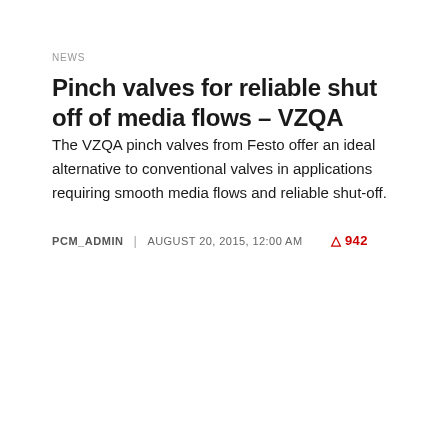NEWS
Pinch valves for reliable shut off of media flows – VZQA
The VZQA pinch valves from Festo offer an ideal alternative to conventional valves in applications requiring smooth media flows and reliable shut-off.
PCM_ADMIN | AUGUST 20, 2015, 12:00 AM  942